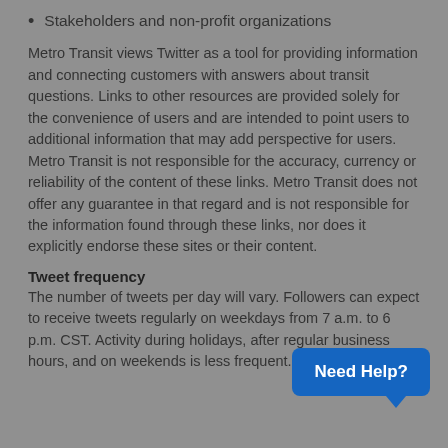Stakeholders and non-profit organizations
Metro Transit views Twitter as a tool for providing information and connecting customers with answers about transit questions. Links to other resources are provided solely for the convenience of users and are intended to point users to additional information that may add perspective for users. Metro Transit is not responsible for the accuracy, currency or reliability of the content of these links. Metro Transit does not offer any guarantee in that regard and is not responsible for the information found through these links, nor does it explicitly endorse these sites or their content.
Tweet frequency
The number of tweets per day will vary. Followers can expect to receive tweets regularly on weekdays from 7 a.m. to 6 p.m. CST. Activity during holidays, after regular business hours, and on weekends is less frequent. During a